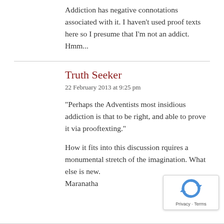Addiction has negative connotations associated with it. I haven't used proof texts here so I presume that I'm not an addict. Hmm...
Truth Seeker
22 February 2013 at 9:25 pm
"Perhaps the Adventists most insidious addiction is that to be right, and able to prove it via prooftexting."

How it fits into this discussion rquires a monumental stretch of the imagination. What else is new.
Maranatha